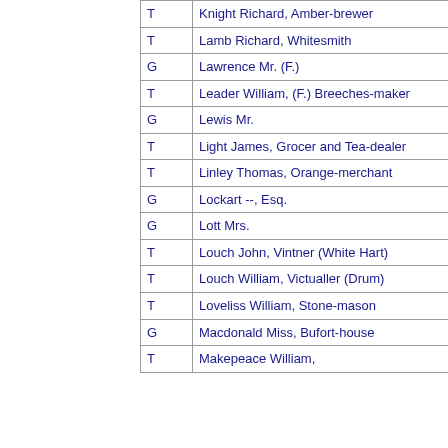|  |  |
| --- | --- |
| T | Knight Richard, Amber-brewer |
| T | Lamb Richard, Whitesmith |
| G | Lawrence Mr. (F.) |
| T | Leader William, (F.) Breeches-maker |
| G | Lewis Mr. |
| T | Light James, Grocer and Tea-dealer |
| T | Linley Thomas, Orange-merchant |
| G | Lockart --, Esq. |
| G | Lott Mrs. |
| T | Louch John, Vintner (White Hart) |
| T | Louch William, Victualler (Drum) |
| T | Loveliss William, Stone-mason |
| G | Macdonald Miss, Bufort-house |
| T | Makepeace William, |